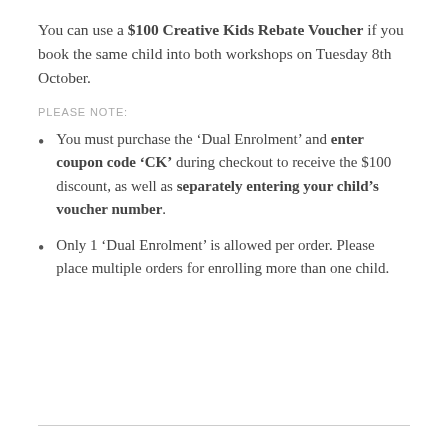You can use a $100 Creative Kids Rebate Voucher if you book the same child into both workshops on Tuesday 8th October.
PLEASE NOTE:
You must purchase the ‘Dual Enrolment’ and enter coupon code ‘CK’ during checkout to receive the $100 discount, as well as separately entering your child’s voucher number.
Only 1 ‘Dual Enrolment’ is allowed per order. Please place multiple orders for enrolling more than one child.